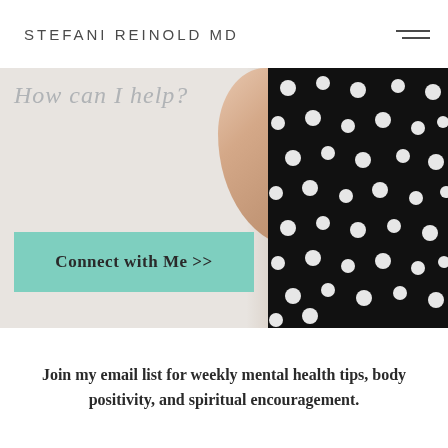STEFANI REINOLD MD
[Figure (photo): Hero image of a woman in a black and white polka dot dress with arms crossed, partially visible. Text overlay reads 'How can I help?' A teal/mint green button labeled 'Connect with Me >>' is overlaid on the left side of the image.]
Join my email list for weekly mental health tips, body positivity, and spiritual encouragement.